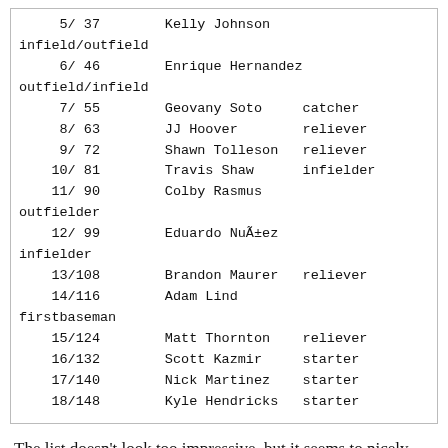| 5/ 37 | Kelly Johnson | infield/outfield |
| 6/ 46 | Enrique Hernandez | outfield/infield |
| 7/ 55 | Geovany Soto | catcher |
| 8/ 63 | JJ Hoover | reliever |
| 9/ 72 | Shawn Tolleson | reliever |
| 10/ 81 | Travis Shaw | infielder |
| 11/ 90 | Colby Rasmus | outfielder |
| 12/ 99 | Eduardo Nuñez | infielder |
| 13/108 | Brandon Maurer | reliever |
| 14/116 | Adam Lind | firstbaseman |
| 15/124 | Matt Thornton | reliever |
| 16/132 | Scott Kazmir | starter |
| 17/140 | Nick Martinez | starter |
| 18/148 | Kyle Hendricks | starter |
The list doesn't look too impressive, but it seems to nicely complement the strong returning crew, which includes Harper, Cole, Cespedes, Encarnacion, and